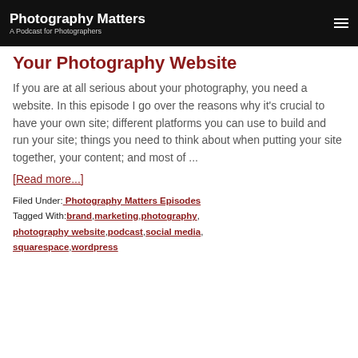Photography Matters — A Podcast for Photographers
Your Photography Website
If you are at all serious about your photography, you need a website. In this episode I go over the reasons why it's crucial to have your own site; different platforms you can use to build and run your site; things you need to think about when putting your site together, your content; and most of ...
[Read more...]
Filed Under: Photography Matters Episodes
Tagged With: brand, marketing, photography, photography website, podcast, social media, squarespace, wordpress